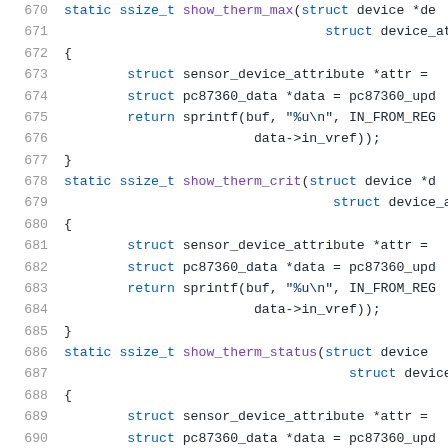670  static ssize_t show_therm_max(struct device *de
671                                  struct device_att
672  {
673          struct sensor_device_attribute *attr =
674          struct pc87360_data *data = pc87360_upd
675          return sprintf(buf, "%u\n", IN_FROM_REG
676                          data->in_vref));
677  }
678  static ssize_t show_therm_crit(struct device *d
679                                   struct device_at
680  {
681          struct sensor_device_attribute *attr =
682          struct pc87360_data *data = pc87360_upd
683          return sprintf(buf, "%u\n", IN_FROM_REG
684                          data->in_vref));
685  }
686  static ssize_t show_therm_status(struct device
687                                     struct device_
688  {
689          struct sensor_device_attribute *attr =
690          struct pc87360_data *data = pc87360_upd